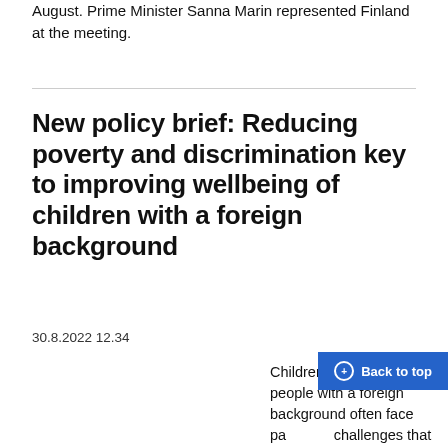August. Prime Minister Sanna Marin represented Finland at the meeting.
New policy brief: Reducing poverty and discrimination key to improving wellbeing of children with a foreign background
30.8.2022 12.34
Children and young people with a foreign background often face particular challenges that affect